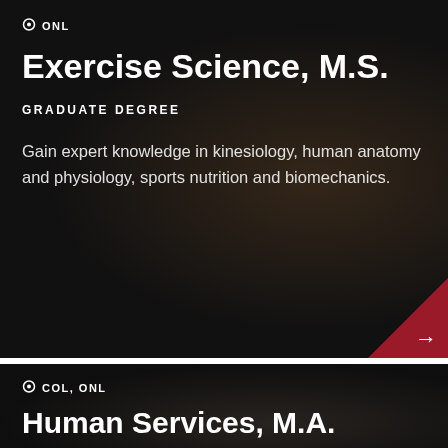ONL
Exercise Science, M.S.
GRADUATE DEGREE
Gain expert knowledge in kinesiology, human anatomy and physiology, sports nutrition and biomechanics.
COL, ONL
Human Services, M.A.
GRADUATE DEGREE